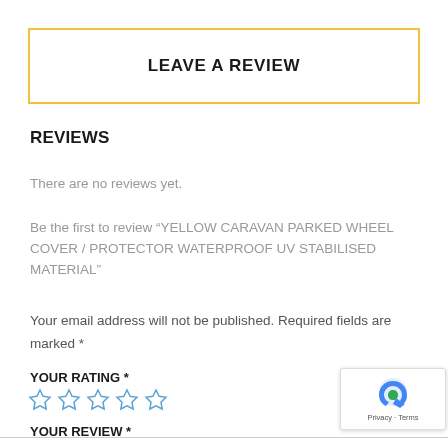LEAVE A REVIEW
REVIEWS
There are no reviews yet.
Be the first to review “YELLOW CARAVAN PARKED WHEEL COVER / PROTECTOR WATERPROOF UV STABILISED MATERIAL”
Your email address will not be published. Required fields are marked *
YOUR RATING *
YOUR REVIEW *